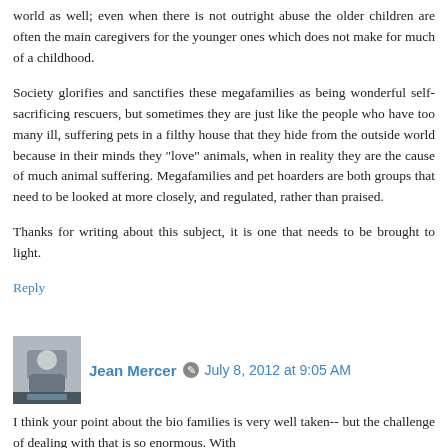world as well; even when there is not outright abuse the older children are often the main caregivers for the younger ones which does not make for much of a childhood.
Society glorifies and sanctifies these megafamilies as being wonderful self-sacrificing rescuers, but sometimes they are just like the people who have too many ill, suffering pets in a filthy house that they hide from the outside world because in their minds they "love" animals, when in reality they are the cause of much animal suffering. Megafamilies and pet hoarders are both groups that need to be looked at more closely, and regulated, rather than praised.
Thanks for writing about this subject, it is one that needs to be brought to light.
Reply
Jean Mercer   July 8, 2012 at 9:05 AM
I think your point about the bio families is very well taken-- but the challenge of dealing with that is so enormous. With